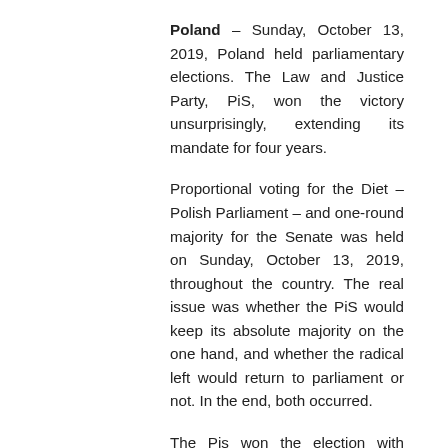Poland – Sunday, October 13, 2019, Poland held parliamentary elections. The Law and Justice Party, PiS, won the victory unsurprisingly, extending its mandate for four years.
Proportional voting for the Diet – Polish Parliament – and one-round majority for the Senate was held on Sunday, October 13, 2019, throughout the country. The real issue was whether the PiS would keep its absolute majority on the one hand, and whether the radical left would return to parliament or not. In the end, both occurred.
The Pis won the election with 43.59% of the vote, obtaining because of the D'Hondt method, 51% of seats in the Diet,